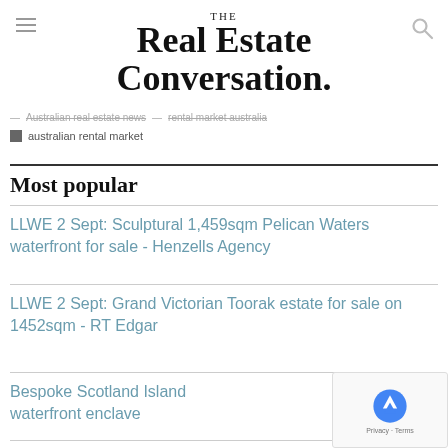THE Real Estate Conversation.
— Australian real estate news  — rental market australia
■ australian rental market
Most popular
LLWE 2 Sept: Sculptural 1,459sqm Pelican Waters waterfront for sale - Henzells Agency
LLWE 2 Sept: Grand Victorian Toorak estate for sale on 1452sqm - RT Edgar
Bespoke Scotland Island waterfront enclave